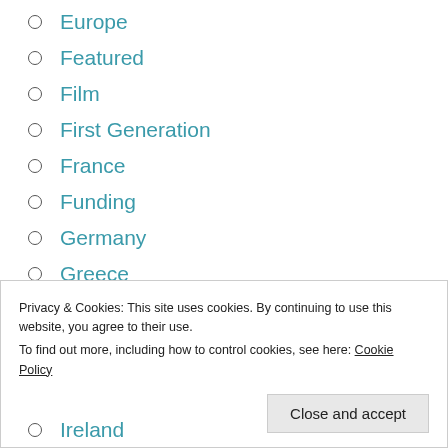Europe
Featured
Film
First Generation
France
Funding
Germany
Greece
Guest contributions
History
Privacy & Cookies: This site uses cookies. By continuing to use this website, you agree to their use.
To find out more, including how to control cookies, see here: Cookie Policy
Ireland